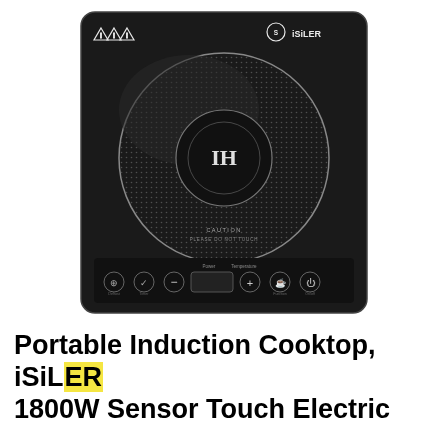[Figure (photo): iSiLER portable induction cooktop with black glass surface, circular IH heating zone with dotted pattern, warning triangles top-left, iSiLER logo top-right, CAUTION text below circle, and control panel at bottom with function buttons including Defrost, Timer, minus, display, plus, Function, and On/Off buttons.]
Portable Induction Cooktop, iSiLER 1800W Sensor Touch Electric